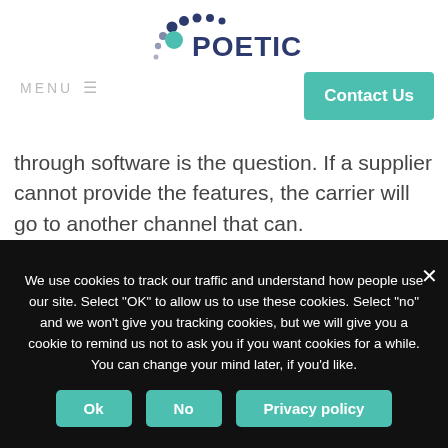POETIC
through software is the question. If a supplier cannot provide the features, the carrier will go to another channel that can.
The Industry Requires a Reliable Mechanism to Effectively Manage a Pay-Per-Use, Software
We use cookies to track our traffic and understand how people use our site. Select "OK" to allow us to use these cookies. Select "no" and we won't give you tracking cookies, but we will give you a cookie to remind us not to ask you if you want cookies for a while. You can change your mind later, if you'd like.